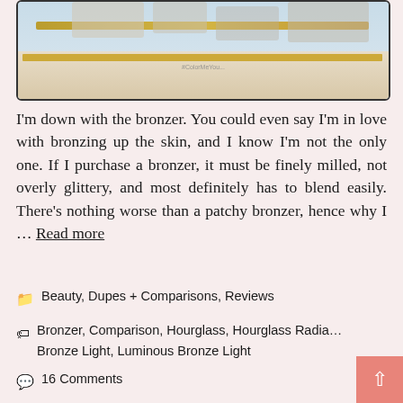[Figure (photo): Top portion of a blog page showing a cropped photo of what appears to be beauty/makeup products on a surface with gold-toned elements and a watermark reading #ColorMeYou or similar]
I'm down with the bronzer. You could even say I'm in love with bronzing up the skin, and I know I'm not the only one. If I purchase a bronzer, it must be finely milled, not overly glittery, and most definitely has to blend easily. There's nothing worse than a patchy bronzer, hence why I … Read more
Beauty, Dupes + Comparisons, Reviews
Bronzer, Comparison, Hourglass, Hourglass Radia… Bronze Light, Luminous Bronze Light
16 Comments